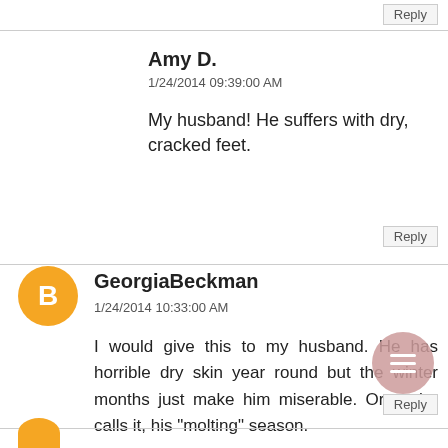Reply
Amy D.
1/24/2014 09:39:00 AM
My husband! He suffers with dry, cracked feet.
Reply
GeorgiaBeckman
1/24/2014 10:33:00 AM
I would give this to my husband. He has horrible dry skin year round but the winter months just make him miserable. Or as he calls it, his "molting" season.
Reply